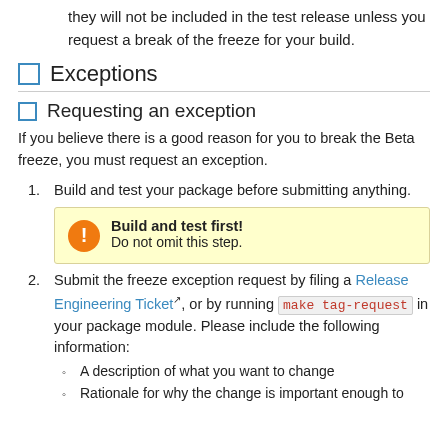they will not be included in the test release unless you request a break of the freeze for your build.
Exceptions
Requesting an exception
If you believe there is a good reason for you to break the Beta freeze, you must request an exception.
Build and test your package before submitting anything.
Build and test first! Do not omit this step.
Submit the freeze exception request by filing a Release Engineering Ticket, or by running make tag-request in your package module. Please include the following information:
A description of what you want to change
Rationale for why the change is important enough to